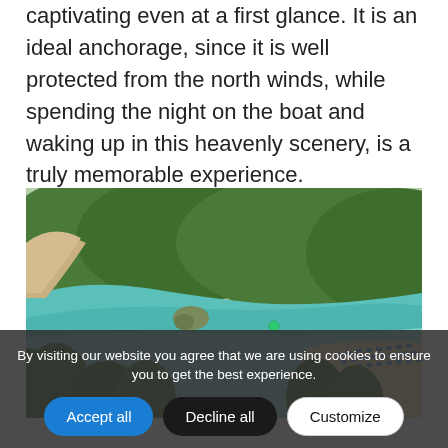captivating even at a first glance. It is an ideal anchorage, since it is well protected from the north winds, while spending the night on the boat and waking up in this heavenly scenery, is a truly memorable experience.
[Figure (photo): Aerial view of a turquoise bay surrounded by dense green forest and hills, with a sandy beach lined with blue sun umbrellas on the right side, small rocky islet in the water, and trees in the foreground.]
By visiting our website you agree that we are using cookies to ensure you to get the best experience.